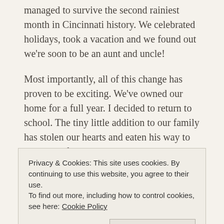managed to survive the second rainiest month in Cincinnati history. We celebrated holidays, took a vacation and we found out we're soon to be an aunt and uncle!
Most importantly, all of this change has proven to be exciting. We've owned our home for a full year. I decided to return to school. The tiny little addition to our family has stolen our hearts and eaten his way to his nearly full-grown weight.
But as we question our decision to purchase high-quality puppy food at his current consumption rate, we're sure of
Privacy & Cookies: This site uses cookies. By continuing to use this website, you agree to their use.
To find out more, including how to control cookies, see here: Cookie Policy
[Figure (photo): Partial view of a photo strip at the bottom of the page, dark toned image]